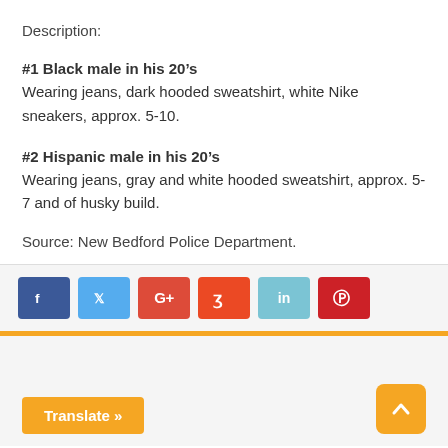Description:
#1 Black male in his 20’s
Wearing jeans, dark hooded sweatshirt, white Nike sneakers, approx. 5-10.
#2 Hispanic male in his 20’s
Wearing jeans, gray and white hooded sweatshirt, approx. 5-7 and of husky build.
Source: New Bedford Police Department.
[Figure (infographic): Social sharing buttons: Facebook (blue), Twitter (light blue), Google+ (red), StumbleUpon (orange-red), LinkedIn (light blue), Pinterest (red)]
[Figure (infographic): Orange horizontal divider bar]
[Figure (infographic): Translate button (orange) at bottom left and back-to-top arrow button (orange) at bottom right]